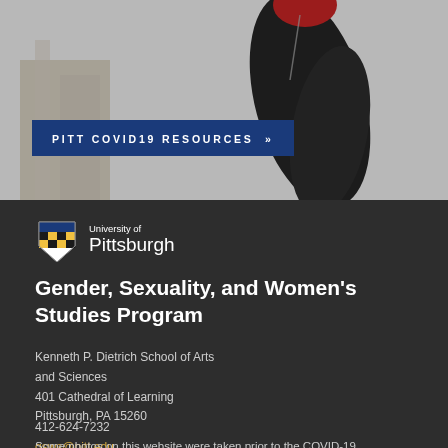[Figure (photo): Photo of a dark glove/arm raised against a grey sky with a building in the background, with a blue banner overlay reading 'PITT COVID19 RESOURCES »']
[Figure (logo): University of Pittsburgh shield logo with text 'University of Pittsburgh']
Gender, Sexuality, and Women's Studies Program
Kenneth P. Dietrich School of Arts and Sciences
401 Cathedral of Learning
Pittsburgh, PA 15260
412-624-7232
gsws@pitt.edu
Some photos on this website were taken prior to the COVID-19